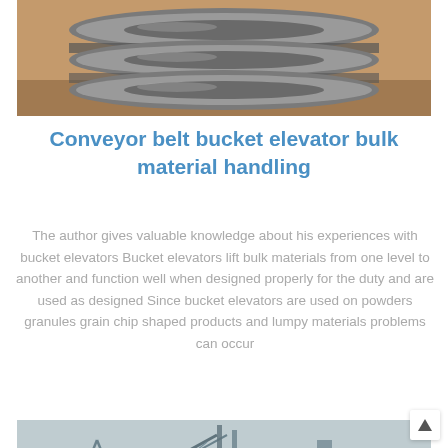[Figure (photo): Close-up photo of stacked metal flanges or pulleys on a sandy/tan surface]
Conveyor belt bucket elevator bulk material handling
The author gives valuable knowledge about his experiences with bucket elevators Bucket elevators lift bulk materials from one level to another and function well when designed properly for the duty and are used as designed Since bucket elevators are used on powders granules grain chip shaped products and lumpy materials problems can occur
[Figure (photo): Industrial facility photo showing conveyor structures and machinery in a hazy/misty environment]